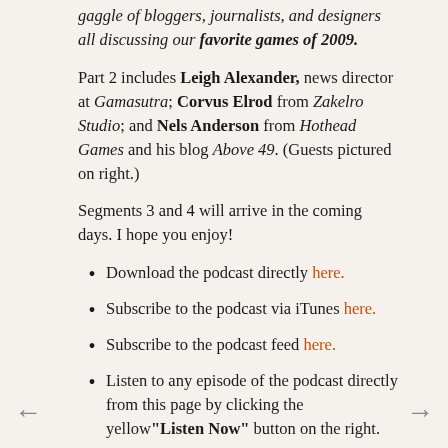gaggle of bloggers, journalists, and designers all discussing our favorite games of 2009.
Part 2 includes Leigh Alexander, news director at Gamasutra; Corvus Elrod from Zakelro Studio; and Nels Anderson from Hothead Games and his blog Above 49. (Guests pictured on right.)
Segments 3 and 4 will arrive in the coming days. I hope you enjoy!
Download the podcast directly here.
Subscribe to the podcast via iTunes here.
Subscribe to the podcast feed here.
Listen to any episode of the podcast directly from this page by clicking the yellow "Listen Now" button on the right.